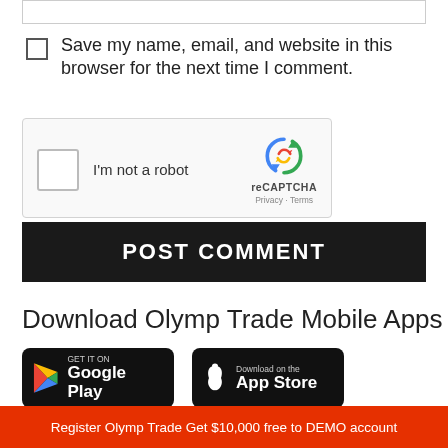[Figure (screenshot): Text input box at the top of the page (partially visible form field)]
Save my name, email, and website in this browser for the next time I comment.
[Figure (other): reCAPTCHA widget with checkbox labeled I'm not a robot and reCAPTCHA logo with Privacy and Terms links]
POST COMMENT
Download Olymp Trade Mobile Apps
[Figure (other): Google Play Store download badge]
[Figure (other): Apple App Store download badge]
Register Olymp Trade Get $10,000 free to DEMO account